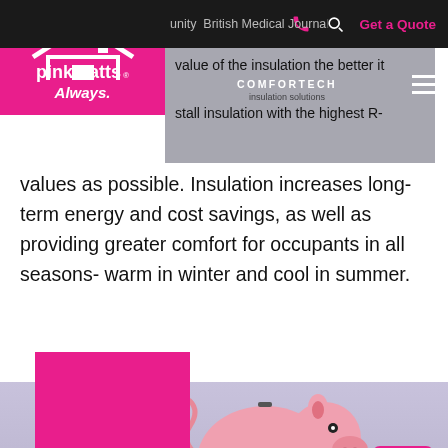unity - British Medical Journal
[Figure (logo): Pink Batts Always logo on pink background]
value of the insulation the better it COMFORTECH stall insulation with the highest R-values as possible. Insulation increases long-term energy and cost savings, as well as providing greater comfort for occupants in all seasons- warm in winter and cool in summer.
[Figure (photo): Pink piggy bank on a purple/lavender shelf background, with a pink chat bubble icon in the bottom right corner]